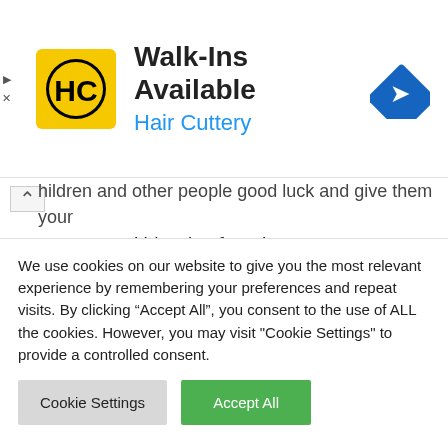[Figure (screenshot): Hair Cuttery advertisement banner with HC logo (black and yellow circular logo), text 'Walk-Ins Available' and 'Hair Cuttery' in blue, and a blue navigation arrow icon on the right. Arrow up and X dismiss icons on the left edge.]
...children and other people good luck and give them your prayers and blessing for a happy, prosperous, and successful life in the future.
During the New Year's Eve, parents and relatives handover these beautiful Red Envelopes that is considered a blessing to the children who are getting them.
We use cookies on our website to give you the most relevant experience by remembering your preferences and repeat visits. By clicking “Accept All”, you consent to the use of ALL the cookies. However, you may visit "Cookie Settings" to provide a controlled consent.